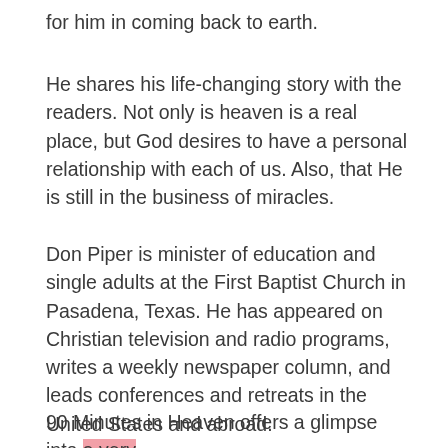for him in coming back to earth.
He shares his life-changing story with the readers. Not only is heaven is a real place, but God desires to have a personal relationship with each of us. Also, that He is still in the business of miracles.
Don Piper is minister of education and single adults at the First Baptist Church in Pasadena, Texas. He has appeared on Christian television and radio programs, writes a weekly newspaper column, and leads conferences and retreats in the United States and abroad.
90 Minutes in Heaven offers a glimpse into a very